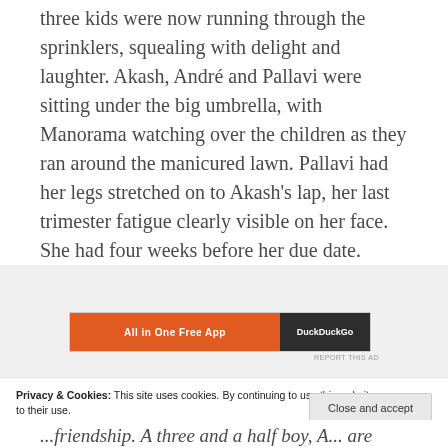three kids were now running through the sprinklers, squealing with delight and laughter. Akash, André and Pallavi were sitting under the big umbrella, with Manorama watching over the children as they ran around the manicured lawn. Pallavi had her legs stretched on to Akash's lap, her last trimester fatigue clearly visible on her face. She had four weeks before her due date.
[Figure (other): Advertisement banner: orange section with text 'All in One Free App' and dark section with text 'DuckDuckGo'. REPORT THIS AD text below.]
Privacy & Cookies: This site uses cookies. By continuing to use this website, you agree to their use.
To find out more, including how to control cookies, see here: Cookie Policy
Close and accept
...friendship. A three and a half boy, A... are going to